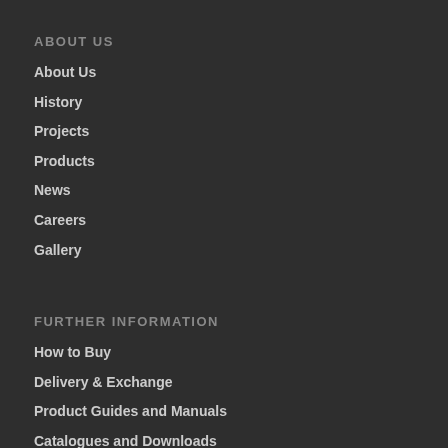ABOUT US
About Us
History
Projects
Products
News
Careers
Gallery
FURTHER INFORMATION
How to Buy
Delivery & Exchange
Product Guides and Manuals
Catalogues and Downloads